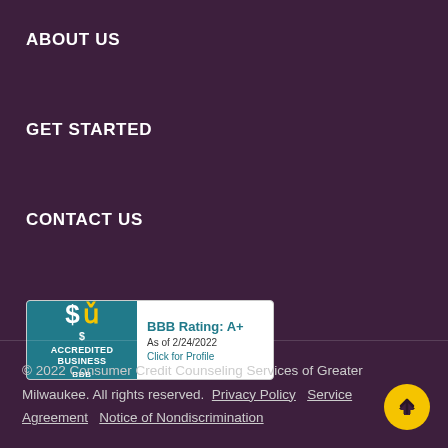ABOUT US
GET STARTED
CONTACT US
[Figure (logo): BBB Accredited Business badge with A+ rating as of 2/24/2022, click for profile]
© 2022 Consumer Credit Counseling Services of Greater Milwaukee. All rights reserved. Privacy Policy   Service Agreement   Notice of Nondiscrimination